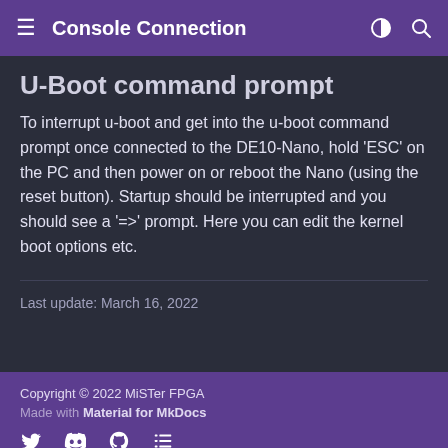Console Connection
U-Boot command prompt
To interrupt u-boot and get into the u-boot command prompt once connected to the DE10-Nano, hold 'ESC' on the PC and then power on or reboot the Nano (using the reset button). Startup should be interrupted and you should see a '=>' prompt. Here you can edit the kernel boot options etc.
Last update: March 16, 2022
Copyright © 2022 MiSTer FPGA
Made with Material for MkDocs